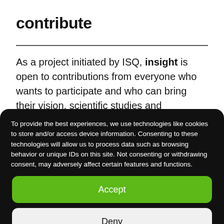contribute
As a project initiated by ISQ, insight is open to contributions from everyone who wants to participate and who can bring their vision, scientific studies and reasoned opinion to enrich the themes and the debate.
To provide the best experiences, we use technologies like cookies to store and/or access device information. Consenting to these technologies will allow us to process data such as browsing behavior or unique IDs on this site. Not consenting or withdrawing consent, may adversely affect certain features and functions.
Accept
Deny